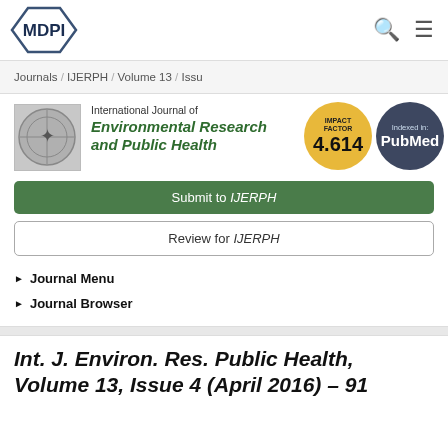[Figure (logo): MDPI logo - hexagon shaped border with MDPI text]
Journals / IJERPH / Volume 13 / Issue
[Figure (infographic): Impact Factor badge: 4.614 (yellow circle) and Indexed in: PubMed (dark blue circle)]
[Figure (logo): International Journal of Environmental Research and Public Health journal logo with globe/star of life symbol]
International Journal of Environmental Research and Public Health
Submit to IJERPH
Review for IJERPH
Journal Menu
Journal Browser
Int. J. Environ. Res. Public Health, Volume 13, Issue 4 (April 2016) – 91